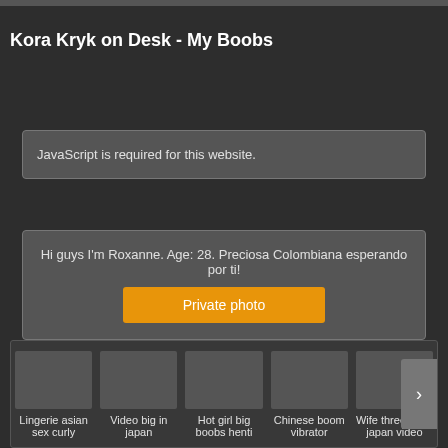Kora Kryk on Desk - My Boobs
JavaScript is required for this website.
Hi guys I'm Roxanne. Age: 28. Preciosa Colombiana esperando por ti!
Private photo
Lingerie asian sex curly
Video big in japan
Hot girl big boobs henti
Chinese boom vibrator
Wife threesome japan video